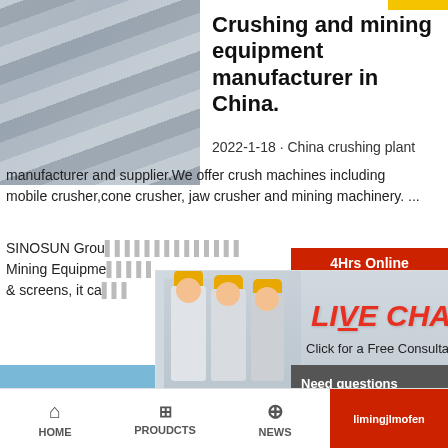[Figure (photo): Industrial/equipment photo showing metal framework or conveyor structure]
Crushing and mining equipment manufacturer in China.
2022-1-18 · China crushing plant manufacturer and supplier.We offer crush machines including mobile crusher,cone crusher, jaw crusher and mining machinery. ...
SINOSUN Grou... Mining Equipme... & screens, it ca...
[Figure (screenshot): Live chat popup overlay with workers in hard hats background, LIVE CHAT text in red italic, Click for a Free Consultation, Chat now and Chat later buttons]
[Figure (photo): Customer service representative with headset on right side, 24Hrs Online banner]
[Figure (photo): Rock crusher site photo showing machinery and rock pile in outdoor setting]
China Rock Crusher Crusher Manu...
Need questions & suggestion?
Chat Now
Enquiry
limingjlmofen
HOME   PROUDCTS   NEWS